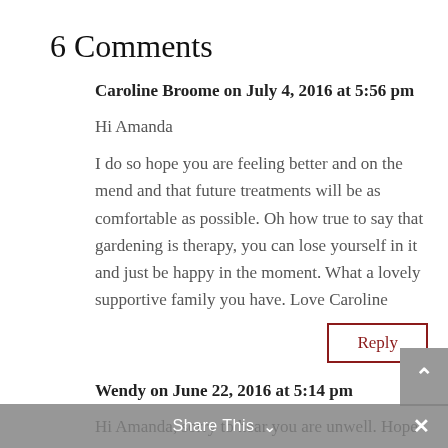6 Comments
Caroline Broome on July 4, 2016 at 5:56 pm
Hi Amanda
I do so hope you are feeling better and on the mend and that future treatments will be as comfortable as possible. Oh how true to say that gardening is therapy, you can lose yourself in it and just be happy in the moment. What a lovely supportive family you have. Love Caroline
Reply
Wendy on June 22, 2016 at 5:14 pm
Hi Amanda, sorry to hear you are unwell. Hope all goes well with future treatments. All my very best.
Share This ∨  ✕